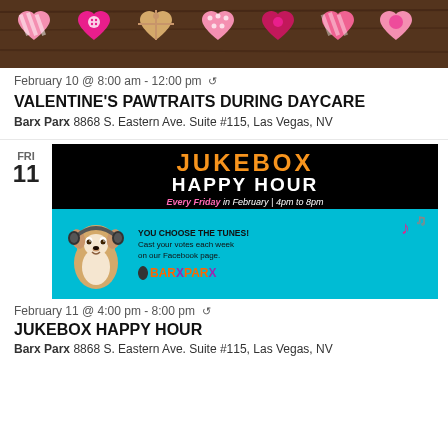[Figure (photo): Pink and rose-colored heart-shaped cookies/decorations arranged on a dark wooden background]
February 10 @ 8:00 am - 12:00 pm ↺
VALENTINE'S PAWTRAITS DURING DAYCARE
Barx Parx 8868 S. Eastern Ave. Suite #115, Las Vegas, NV
[Figure (photo): Jukebox Happy Hour promotional banner for Barx Parx showing a dog wearing headphones on a cyan background with text 'You Choose the Tunes! Cast your votes each week on our Facebook page.']
February 11 @ 4:00 pm - 8:00 pm ↺
JUKEBOX HAPPY HOUR
Barx Parx 8868 S. Eastern Ave. Suite #115, Las Vegas, NV